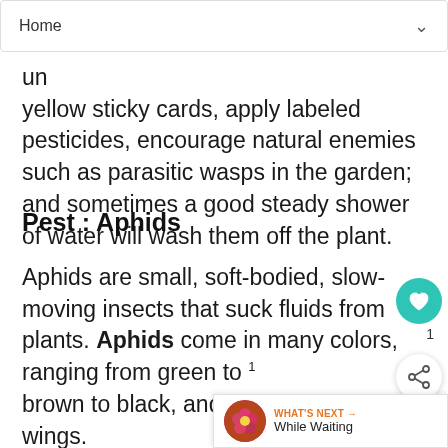Home
yellow sticky cards, apply labeled pesticides, encourage natural enemies such as parasitic wasps in the garden; and sometimes a good steady shower of water will wash them off the plant.
Pest : Aphids
Aphids are small, soft-bodied, slow-moving insects that suck fluids from plants. Aphids come in many colors, ranging from green to brown to black, and they may have wings. They attack a wide range of plant species causing stunting, deformed leaves and. They can transmit harmful plant viruses with